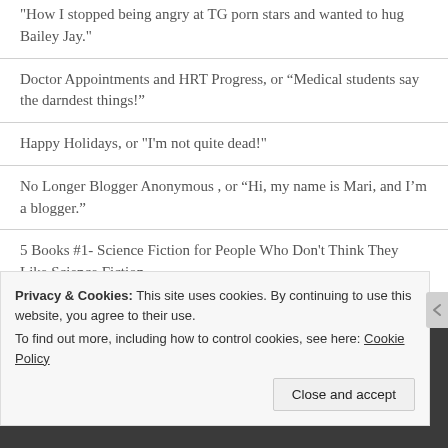"How I stopped being angry at TG porn stars and wanted to hug Bailey Jay."
Doctor Appointments and HRT Progress, or “Medical students say the darndest things!”
Happy Holidays, or "I'm not quite dead!"
No Longer Blogger Anonymous , or “Hi, my name is Mari, and I’m a blogger.”
5 Books #1- Science Fiction for People Who Don't Think They Like Science Fiction
Privacy & Cookies: This site uses cookies. By continuing to use this website, you agree to their use.
To find out more, including how to control cookies, see here: Cookie Policy